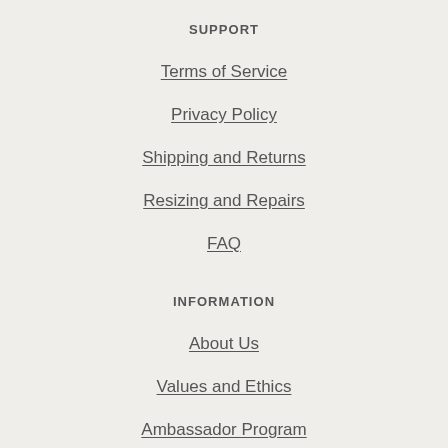SUPPORT
Terms of Service
Privacy Policy
Shipping and Returns
Resizing and Repairs
FAQ
INFORMATION
About Us
Values and Ethics
Ambassador Program